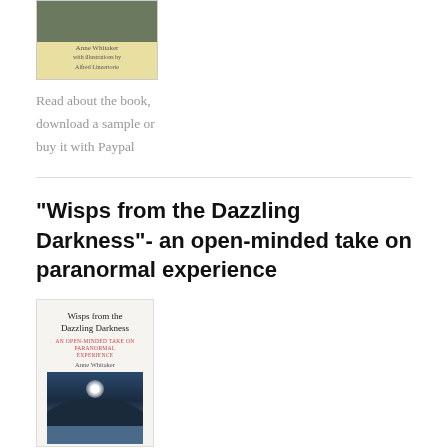[Figure (illustration): Book cover image for a book by Anne Whitaker, with illustration by Alfred Linzertorte, showing a yellowish/sandy background with a small photo at top]
Read about the book, download a sample or buy it with Paypal
“Wisps from the Dazzling Darkness”- an open-minded take on paranormal experience
[Figure (illustration): Book cover of 'Wisps from the Dazzling Darkness: An Open-Minded Take on Paranormal Experience' by Anne Whitaker, showing a landscape photo with sunlight over hills and water]
Read about the book, download a sample or